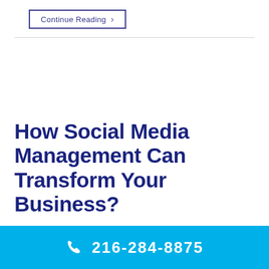Continue Reading →
How Social Media Management Can Transform Your Business?
216-284-8875